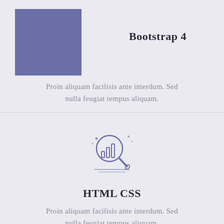[Figure (illustration): Purple/blue square icon placeholder for Bootstrap 4 card]
Bootstrap 4
Proin aliquam facilisis ante interdum. Sed nulla feugiat tempus aliquam.
[Figure (illustration): Analytics magnifying glass icon with bar chart inside, blue/purple outline style, with sparkle decorations]
HTML CSS
Proin aliquam facilisis ante interdum. Sed nulla feugiat tempus aliquam.